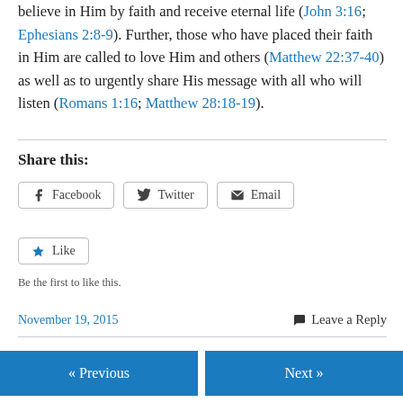believe in Him by faith and receive eternal life (John 3:16; Ephesians 2:8-9). Further, those who have placed their faith in Him are called to love Him and others (Matthew 22:37-40) as well as to urgently share His message with all who will listen (Romans 1:16; Matthew 28:18-19).
Share this:
Facebook  Twitter  Email
Like
Be the first to like this.
November 19, 2015    Leave a Reply
« Previous    Next »